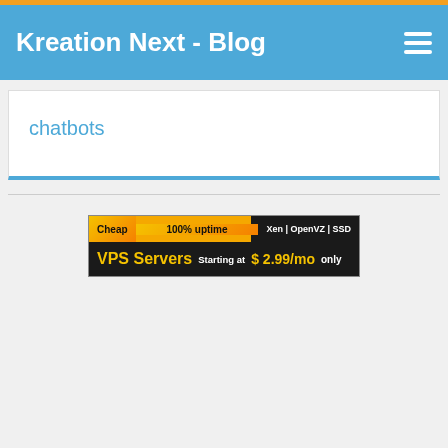Kreation Next - Blog
chatbots
[Figure (infographic): Advertisement banner for VPS Servers: Cheap, 100% uptime, Xen | OpenVZ | SSD, VPS Servers Starting at $ 2.99/mo only]